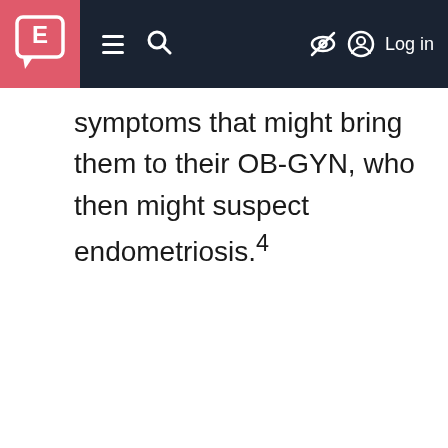E [logo] ≡ 🔍 [eye-slash icon] [account icon] Log in
symptoms that might bring them to their OB-GYN, who then might suspect endometriosis.4